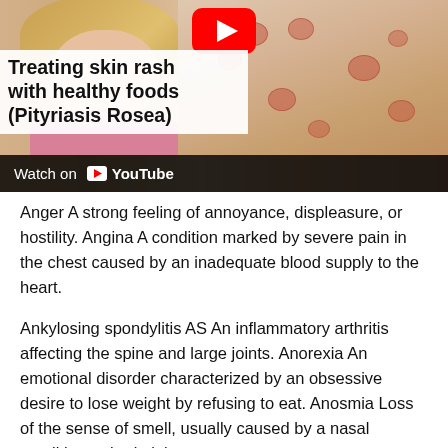[Figure (screenshot): YouTube video thumbnail showing a woman with blonde hair on the left, a skin rash image on the right, overlaid text reading 'Treating skin rash with healthy foods (Pityriasis Rosea)', a YouTube play button icon, and a 'Watch on YouTube' bar at the bottom.]
Anger A strong feeling of annoyance, displeasure, or hostility. Angina A condition marked by severe pain in the chest caused by an inadequate blood supply to the heart.
Ankylosing spondylitis AS An inflammatory arthritis affecting the spine and large joints. Anorexia An emotional disorder characterized by an obsessive desire to lose weight by refusing to eat. Anosmia Loss of the sense of smell, usually caused by a nasal condition or brain injury.